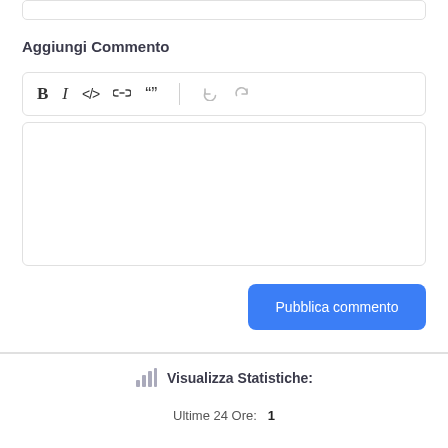Aggiungi Commento
[Figure (screenshot): Text editor toolbar with Bold, Italic, Code, Link, Blockquote, Undo, Redo buttons]
[Figure (screenshot): Empty text input area for comment]
Pubblica commento
Visualizza Statistiche:
Ultime 24 Ore:  1